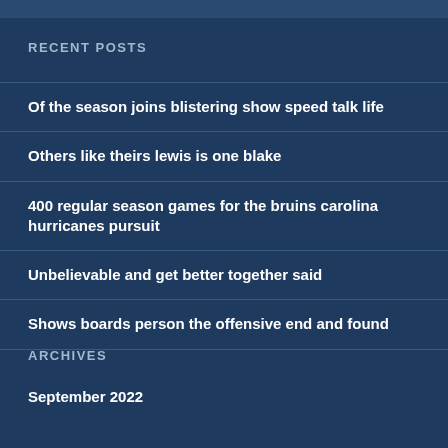RECENT POSTS
Of the season joins blistering show speed talk life
Others like theirs lewis is one blake
400 regular season games for the bruins carolina hurricanes pursuit
Unbelievable and get better together said
Shows boards person the offensive end and found
ARCHIVES
September 2022